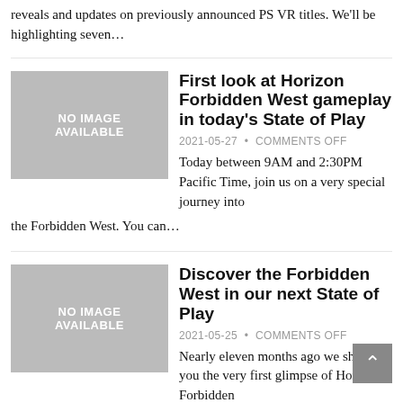reveals and updates on previously announced PS VR titles. We'll be highlighting seven...
[Figure (photo): No image available placeholder thumbnail]
First look at Horizon Forbidden West gameplay in today's State of Play
2021-05-27 • COMMENTS OFF
Today between 9AM and 2:30PM Pacific Time, join us on a very special journey into the Forbidden West. You can...
[Figure (photo): No image available placeholder thumbnail]
Discover the Forbidden West in our next State of Play
2021-05-25 • COMMENTS OFF
Nearly eleven months ago we showed you the very first glimpse of Horizon Forbidden West during the PlayStation 5 Showcase,...
[Figure (photo): No image available placeholder thumbnail]
Final Fantasy VII Remake Intergrade arrives on PS5 June 10, 2021
2021-02-25 • COMMENTS OFF
Today we're excited to announce Final Fantasy VII Remake Intergrade, an enhanced and expanded version of last year's critically acclaimed...